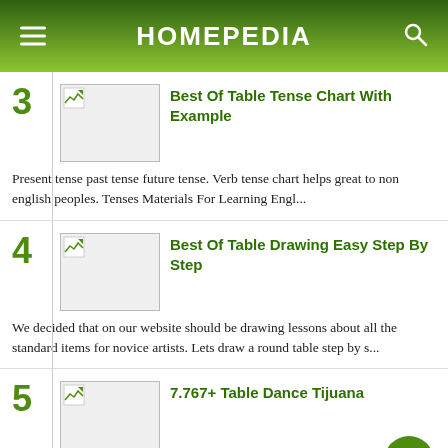HOMEPEDIA
3 Best Of Table Tense Chart With Example
Present tense past tense future tense. Verb tense chart helps great to non english peoples. Tenses Materials For Learning Engl...
4 Best Of Table Drawing Easy Step By Step
We decided that on our website should be drawing lessons about all the standard items for novice artists. Lets draw a round table step by s...
5 7.767+ Table Dance Tijuana
Videos About Tabledance On Vimeo